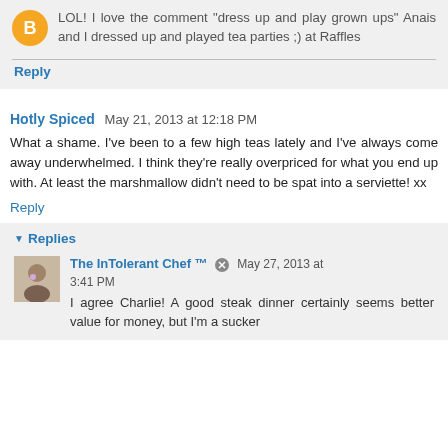LOL! I love the comment "dress up and play grown ups" Anais and I dressed up and played tea parties ;) at Raffles
Reply
Hotly Spiced  May 21, 2013 at 12:18 PM
What a shame. I've been to a few high teas lately and I've always come away underwhelmed. I think they're really overpriced for what you end up with. At least the marshmallow didn't need to be spat into a serviette! xx
Reply
Replies
The InTolerant Chef ™  May 27, 2013 at 3:41 PM
I agree Charlie! A good steak dinner certainly seems better value for money, but I'm a sucker